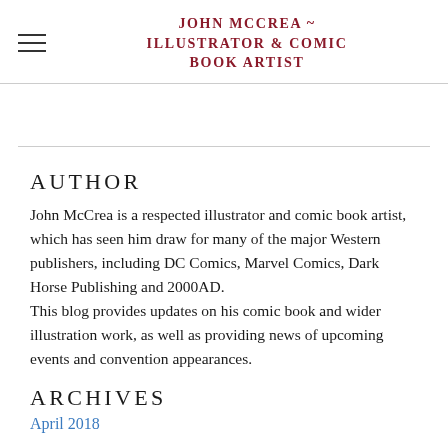JOHN MCCREA ~ ILLUSTRATOR & COMIC BOOK ARTIST
AUTHOR
John McCrea is a respected illustrator and comic book artist, which has seen him draw for many of the major Western publishers, including DC Comics, Marvel Comics, Dark Horse Publishing and 2000AD.
This blog provides updates on his comic book and wider illustration work, as well as providing news of upcoming events and convention appearances.
ARCHIVES
April 2018